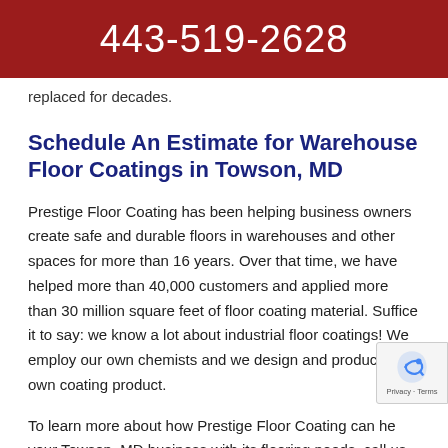443-519-2628
replaced for decades.
Schedule An Estimate for Warehouse Floor Coatings in Towson, MD
Prestige Floor Coating has been helping business owners create safe and durable floors in warehouses and other spaces for more than 16 years. Over that time, we have helped more than 40,000 customers and applied more than 30 million square feet of floor coating material. Suffice it to say: we know a lot about industrial floor coatings! We employ our own chemists and we design and produce our own coating product.
To learn more about how Prestige Floor Coating can help your Towson, MD business with its flooring needs, call us at